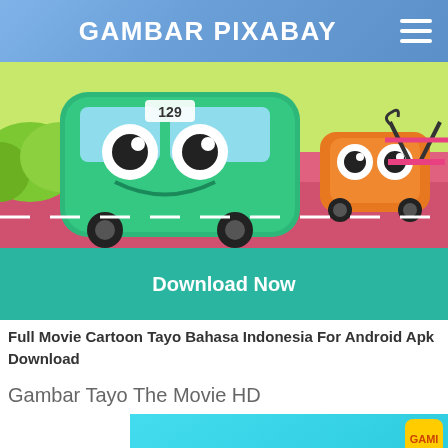GAMBAR PIXABAY
[Figure (illustration): Cartoon image of Tayo the Little Bus characters - green bus with eyes numbered 129, orange bus in background, pink road with bench]
Download Now
Full Movie Cartoon Tayo Bahasa Indonesia For Android Apk Download
Gambar Tayo The Movie HD
[Figure (illustration): Tayo The Little Bus movie cover with colorful TAYO logo on cyan background with cartoon bus characters]